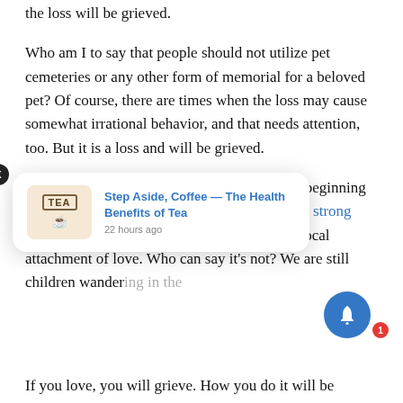the loss will be grieved.
Who am I to say that people should not utilize pet cemeteries or any other form of memorial for a beloved pet? Of course, there are times when the loss may cause somewhat irrational behavior, and that needs attention, too. But it is a loss and will be grieved.
We know so little about animals and are only beginning to recognize that they have emotions and form strong attachments and love. Having a pet is a reciprocal attachment of love. Who can say it's not? We are still children wandering in the
[Figure (screenshot): Popup notification card showing a tea-related article: 'Step Aside, Coffee — The Health Benefits of Tea', posted 22 hours ago, with a TEA box logo image.]
If you love, you will grieve. How you do it will be